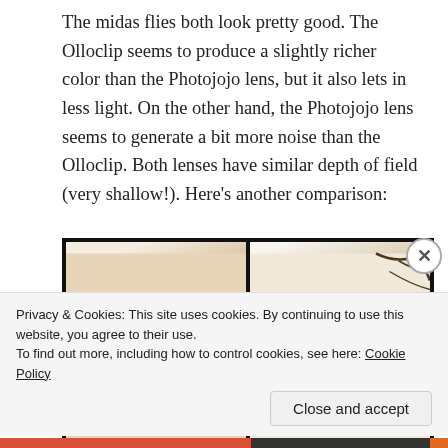The midas flies both look pretty good. The Olloclip seems to produce a slightly richer color than the Photojojo lens, but it also lets in less light. On the other hand, the Photojojo lens seems to generate a bit more noise than the Olloclip. Both lenses have similar depth of field (very shallow!). Here's another comparison:
[Figure (photo): Side-by-side macro photos of fly wings. Left image shows a close-up of a translucent insect wing with brown veining patterns against a light background. Right image shows a similar insect wing with more of the fly body visible including legs, slightly darker tones.]
Privacy & Cookies: This site uses cookies. By continuing to use this website, you agree to their use.
To find out more, including how to control cookies, see here: Cookie Policy
Close and accept